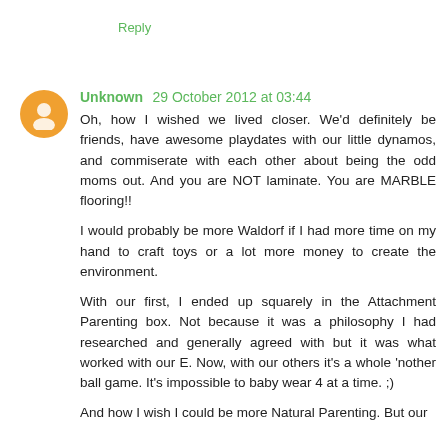Reply
Unknown 29 October 2012 at 03:44
Oh, how I wished we lived closer. We'd definitely be friends, have awesome playdates with our little dynamos, and commiserate with each other about being the odd moms out. And you are NOT laminate. You are MARBLE flooring!!
I would probably be more Waldorf if I had more time on my hand to craft toys or a lot more money to create the environment.
With our first, I ended up squarely in the Attachment Parenting box. Not because it was a philosophy I had researched and generally agreed with but it was what worked with our E. Now, with our others it's a whole 'nother ball game. It's impossible to baby wear 4 at a time. ;)
And how I wish I could be more Natural Parenting. But our ...